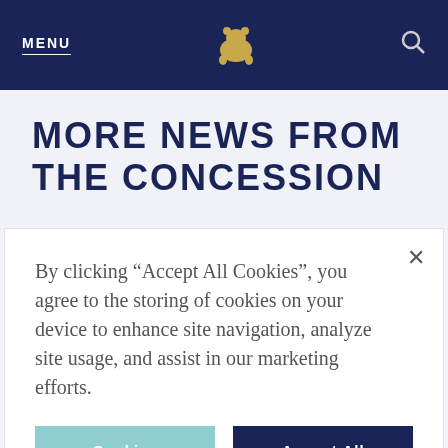MENU
MORE NEWS FROM THE CONCESSION
By clicking “Accept All Cookies”, you agree to the storing of cookies on your device to enhance site navigation, analyze site usage, and assist in our marketing efforts.
Cookies Settings | Accept All Cookies